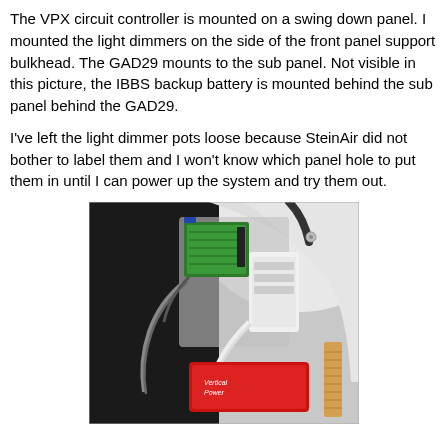The VPX circuit controller is mounted on a swing down panel. I mounted the light dimmers on the side of the front panel support bulkhead. The GAD29 mounts to the sub panel. Not visible in this picture, the IBBS backup battery is mounted behind the sub panel behind the GAD29.
I've left the light dimmer pots loose because SteinAir did not bother to label them and I won't know which panel hole to put them in until I can power up the system and try them out.
[Figure (photo): Interior photograph of an aircraft showing avionics wiring and components mounted behind the instrument panel. Visible components include a green circuit board (VPX controller), a white subpanel, a red Vertical Power unit at the bottom, and various wires and connectors. The curved white fuselage interior and a blue exterior stripe are visible in the background.]